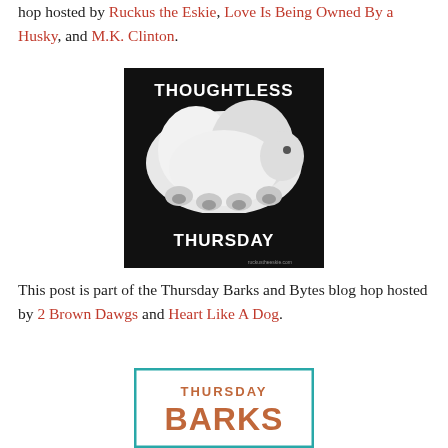hop hosted by Ruckus the Eskie, Love Is Being Owned By a Husky, and M.K. Clinton.
[Figure (photo): Black and white photo of a fluffy white dog lying on its back showing paws, with bold text overlay reading THOUGHTLESS THURSDAY and small text ruckustheeskie.com]
This post is part of the Thursday Barks and Bytes blog hop hosted by 2 Brown Dawgs and Heart Like A Dog.
[Figure (logo): Thursday Barks and Bytes logo with teal border, brown text THURSDAY BARKS in large letters]